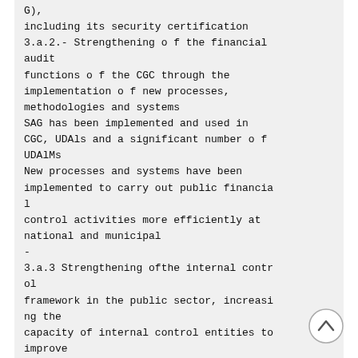G),
including its security certification
3.a.2.- Strengthening o f the financial audit
functions o f the CGC through the implementation o f new processes, methodologies and systems
SAG has been implemented and used in CGC, UDAls and a significant number o f UDAlMs
New processes and systems have been implemented to carry out public financial control activities more efficiently at national and municipal
-
3.a.3 Strengthening ofthe internal control
framework in the public sector, increasing the
capacity of internal control entities to improve
the public sector management and accountability
[Figure (other): Circular scroll-to-top button with upward chevron arrow icon]